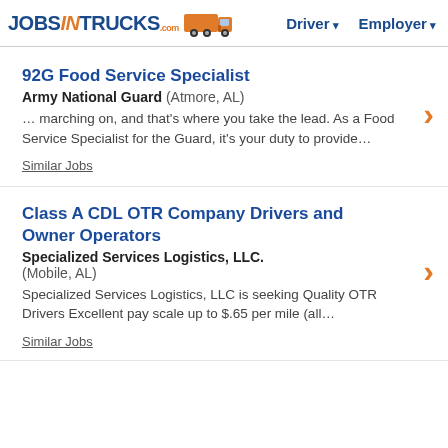JOBSINTRUCKS.com — Driver ▾  Employer ▾
92G Food Service Specialist
Army National Guard (Atmore, AL)
… marching on, and that's where you take the lead. As a Food Service Specialist for the Guard, it's your duty to provide…
Similar Jobs
Class A CDL OTR Company Drivers and Owner Operators
Specialized Services Logistics, LLC. (Mobile, AL)
Specialized Services Logistics, LLC is seeking Quality OTR Drivers Excellent pay scale up to $.65 per mile (all…
Similar Jobs